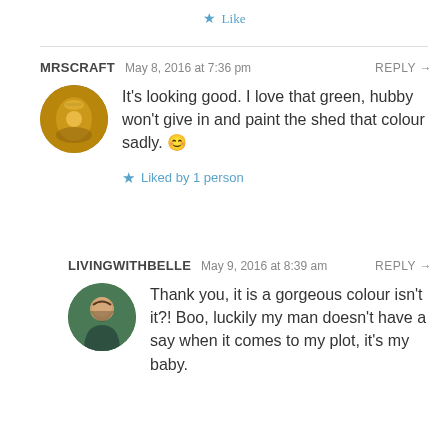Like
MRSCRAFT   May 8, 2016 at 7:36 pm   REPLY →
It's looking good. I love that green, hubby won't give in and paint the shed that colour sadly. 😊
Liked by 1 person
LIVINGWITHBELLE   May 9, 2016 at 8:39 am   REPLY →
Thank you, it is a gorgeous colour isn't it?! Boo, luckily my man doesn't have a say when it comes to my plot, it's my baby.